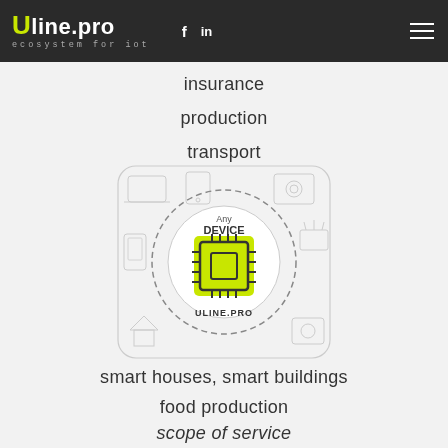uline.pro ecosystem for iot — f in [hamburger menu]
insurance
production
transport
[Figure (illustration): IoT ecosystem diagram showing a microchip icon with 'Any DEVICE' label, surrounded by dashed circle and IoT device icons, with ULINE.PRO text below chip]
smart houses, smart buildings
food production
scope of service (partial, cut off)